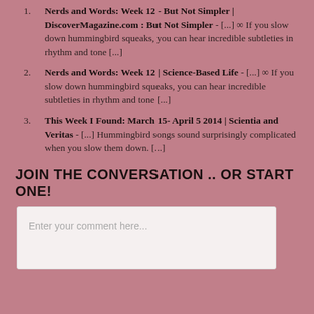Nerds and Words: Week 12 - But Not Simpler | DiscoverMagazine.com : But Not Simpler - [...] ∞ If you slow down hummingbird squeaks, you can hear incredible subtleties in rhythm and tone [...]
Nerds and Words: Week 12 | Science-Based Life - [...] ∞ If you slow down hummingbird squeaks, you can hear incredible subtleties in rhythm and tone [...]
This Week I Found: March 15- April 5 2014 | Scientia and Veritas - [...] Hummingbird songs sound surprisingly complicated when you slow them down. [...]
JOIN THE CONVERSATION .. OR START ONE!
Enter your comment here...